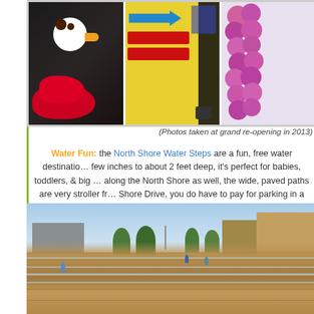[Figure (photo): Three photos in a strip: a balloon animal duck (red/white), colorful signs with arrow, and pink/purple balloon column]
(Photos taken at grand re-opening in 2013)
Water Fun: the North Shore Water Steps are a fun, free water destination. Ranging from a few inches to about 2 feet deep, it's perfect for babies, toddlers, & big kids too! Located along the North Shore as well, the wide, paved paths are very stroller friendly. Off North Shore Drive, you do have to pay for parking in a lot.
[Figure (photo): Outdoor photo of North Shore Water Steps with tiered stone steps with flowing water, trees, and city buildings in background]